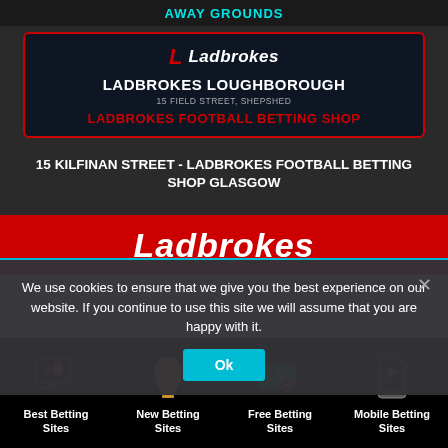[Figure (screenshot): Away Grounds header bar with cyan text on dark background]
[Figure (screenshot): Ladbrokes betting shop card on dark navy background with red border showing LADBROKES LOUGHBOROUGH, 15 FIELD STREET, SHEPSHED, LADBROKES FOOTBALL BETTING SHOP]
15 KILFINAN STREET - LADBROKES FOOTBALL BETTING SHOP GLASGOW
[Figure (screenshot): Red Ladbrokes banner with white italic logo text]
We use cookies to ensure that we give you the best experience on our website. If you continue to use this site we will assume that you are happy with it.
[Figure (infographic): Bottom navigation icons: Best Betting Sites (monitor icon), New Betting Sites (bell icon), Free Betting Sites (cash icon), Mobile Betting Sites (mobile icon)]